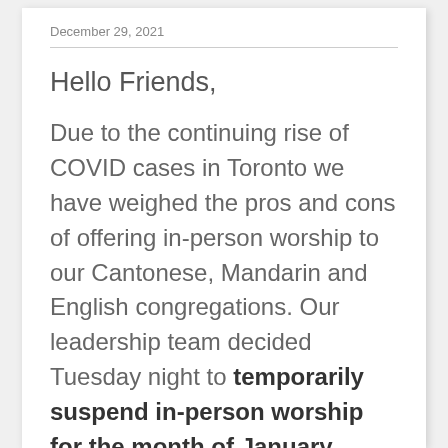December 29, 2021
Hello Friends,
Due to the continuing rise of COVID cases in Toronto we have weighed the pros and cons of offering in-person worship to our Cantonese, Mandarin and English congregations. Our leadership team decided Tuesday night to temporarily suspend in-person worship for the month of January.
Please continue following us